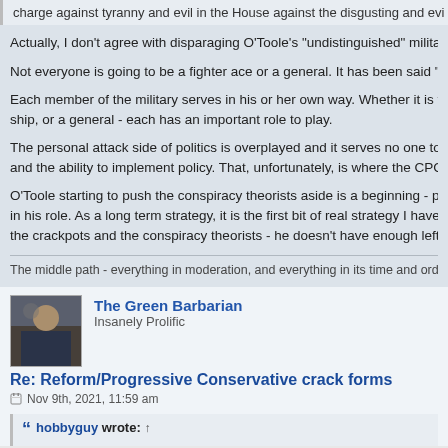charge against tyranny and evil in the House against the disgusting and ev
Actually, I don't agree with disparaging O'Toole's "undistinguished" military se
Not everyone is going to be a fighter ace or a general. It has been said "an ar Each member of the military serves in his or her own way. Whether it is the pe ship, or a general - each has an important role to play.
The personal attack side of politics is overplayed and it serves no one to feed and the ability to implement policy. That, unfortunately, is where the CPC has
O'Toole starting to push the conspiracy theorists aside is a beginning - perha in his role. As a long term strategy, it is the first bit of real strategy I have seer the crackpots and the conspiracy theorists - he doesn't have enough left to fo
The middle path - everything in moderation, and everything in its time and order.
The Green Barbarian
Insanely Prolific
Re: Reform/Progressive Conservative crack forms
Nov 9th, 2021, 11:59 am
hobbyguy wrote: ↑